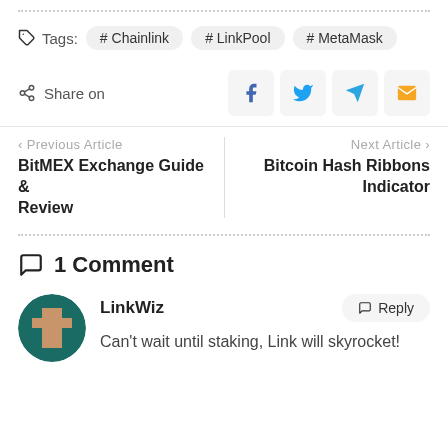Tags: #Chainlink #LinkPool #MetaMask
Share on
‹ Previous Article  BitMEX Exchange Guide & Review
Next Article ›  Bitcoin Hash Ribbons Indicator
1 Comment
LinkWiz
Can't wait until staking, Link will skyrocket!